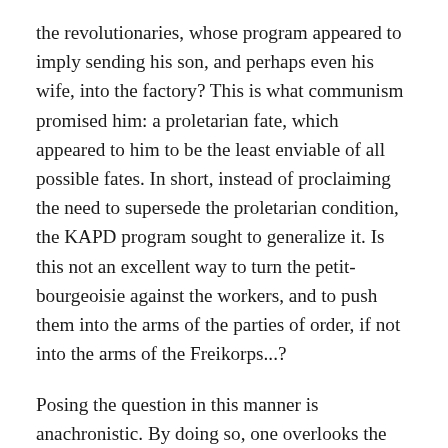the revolutionaries, whose program appeared to imply sending his son, and perhaps even his wife, into the factory? This is what communism promised him: a proletarian fate, which appeared to him to be the least enviable of all possible fates. In short, instead of proclaiming the need to supersede the proletarian condition, the KAPD program sought to generalize it. Is this not an excellent way to turn the petit-bourgeoisie against the workers, and to push them into the arms of the parties of order, if not into the arms of the Freikorps...?
Posing the question in this manner is anachronistic. By doing so, one overlooks the fear and the scorn, if not the class hatred, for the factory workers which were then characteristic of tradesmen, shopkeepers, officials and members of the liberal professions. The